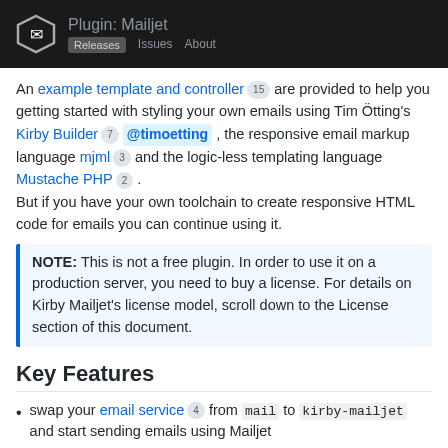Plugin: Mailjet
An example template and controller 15 are provided to help you getting started with styling your own emails using Tim Ötting's Kirby Builder 7 @timoetting , the responsive email markup language mjml 3 and the logic-less templating language Mustache PHP 2 . But if you have your own toolchain to create responsive HTML code for emails you can continue using it.
NOTE: This is not a free plugin. In order to use it on a production server, you need to buy a license. For details on Kirby Mailjet's license model, scroll down to the License section of this document.
Key Features
swap your email service 4 from mail to kirby-mailjet and start sending emails using Mailjet
sent emails can be assigned to new or existing